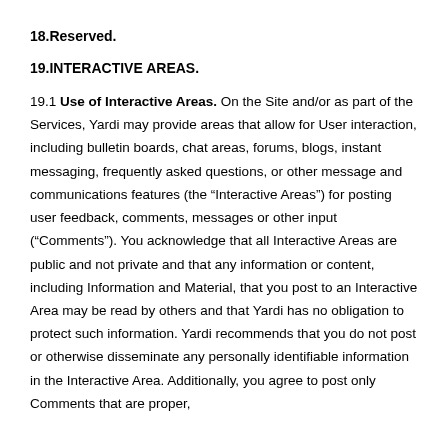18.Reserved.
19.INTERACTIVE AREAS.
19.1 Use of Interactive Areas. On the Site and/or as part of the Services, Yardi may provide areas that allow for User interaction, including bulletin boards, chat areas, forums, blogs, instant messaging, frequently asked questions, or other message and communications features (the “Interactive Areas”) for posting user feedback, comments, messages or other input (“Comments”). You acknowledge that all Interactive Areas are public and not private and that any information or content, including Information and Material, that you post to an Interactive Area may be read by others and that Yardi has no obligation to protect such information. Yardi recommends that you do not post or otherwise disseminate any personally identifiable information in the Interactive Area. Additionally, you agree to post only Comments that are proper,